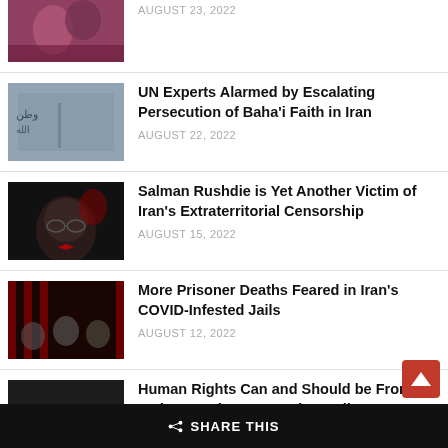[Figure (photo): Partial cropped news thumbnail at top of page — protest scene]
AUGUST 23, 2022
[Figure (photo): Wall with Arabic/Persian graffiti writing]
UN Experts Alarmed by Escalating Persecution of Baha'i Faith in Iran
AUGUST 22, 2022
[Figure (photo): Dark portrait of Salman Rushdie]
Salman Rushdie is Yet Another Victim of Iran's Extraterritorial Censorship
AUGUST 15, 2022
[Figure (photo): Dark red image of prisoners behind bars]
More Prisoner Deaths Feared in Iran's COVID-Infested Jails
AUGUST 12, 2022
[Figure (photo): Protest scene — partially visible]
Human Rights Can and Should be Front and Center in U.S. Foreign Policy on Iran
SHARE THIS